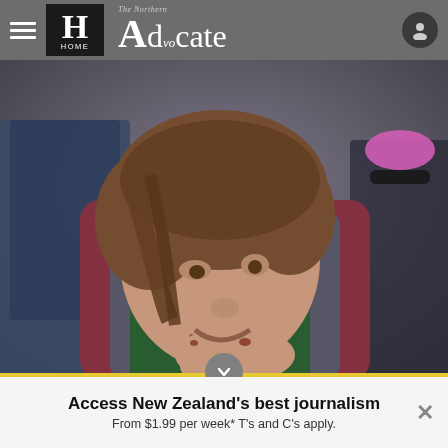The Northern Advocate — HOME
[Figure (photo): A child eating something with their hand raised to their mouth, wearing a maroon and grey hoodie. Other people visible in background including a woman with sunglasses and pink hat.]
Access New Zealand's best journalism
From $1.99 per week* T's and C's apply.